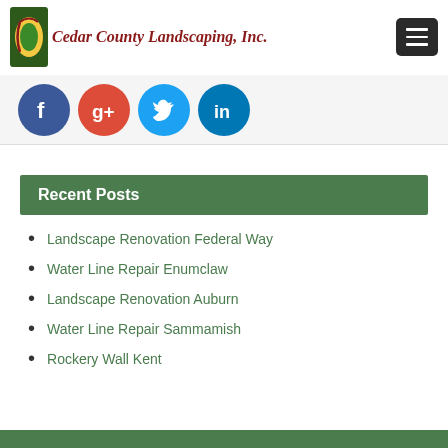Cedar County Landscaping, Inc.
[Figure (logo): Cedar County Landscaping, Inc. logo with stylized C icon and serif italic text]
[Figure (infographic): Social media icons row: Facebook (blue), Google+ (red), Twitter (light blue), LinkedIn (dark blue)]
Recent Posts
Landscape Renovation Federal Way
Water Line Repair Enumclaw
Landscape Renovation Auburn
Water Line Repair Sammamish
Rockery Wall Kent